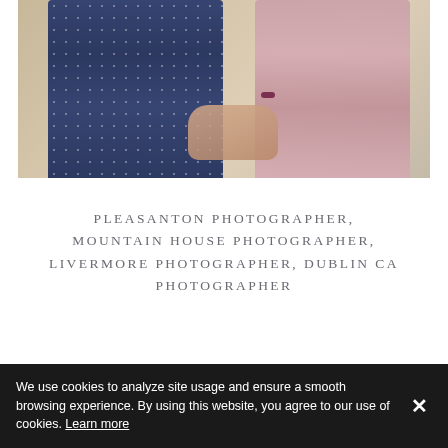[Figure (photo): Two women standing together, one wearing a navy blue polka-dot dress and the other wearing a pink/mauve dress, holding hands in the middle. Background is sandy/beige outdoors. The right figure wears a dark red/maroon fitness tracker bracelet.]
PLEASANTON PHOTOGRAPHER, MOUNTAIN HOUSE PHOTOGRAPHER, LIVERMORE PHOTOGRAPHER, DUBLIN CA PHOTOGRAPHER
We use cookies to analyze site usage and ensure a smooth browsing experience. By using this website, you agree to our use of cookies. Learn more